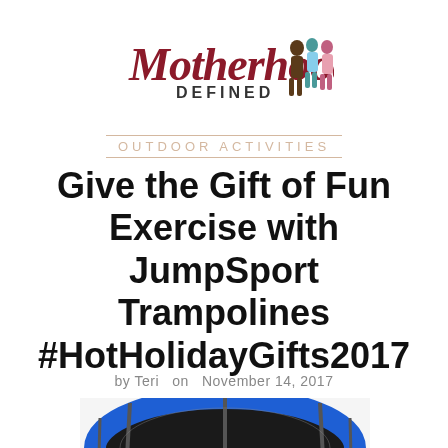[Figure (logo): Motherhood Defined logo with script and sans-serif text and illustrated figures of women]
OUTDOOR ACTIVITIES
Give the Gift of Fun Exercise with JumpSport Trampolines #HotHolidayGifts2017
by Teri  on  November 14, 2017
[Figure (photo): A trampoline with blue safety padding and metal poles, viewed from above at an angle, partially cropped at bottom of page]